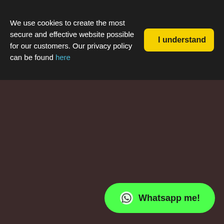We use cookies to create the most secure and effective website possible for our customers. Our privacy policy can be found here
[Figure (screenshot): Dark brownish-red background area filling most of the lower portion of the page]
[Figure (other): Green pill-shaped WhatsApp button with phone icon and text 'Whatsapp me!' in bottom right corner]